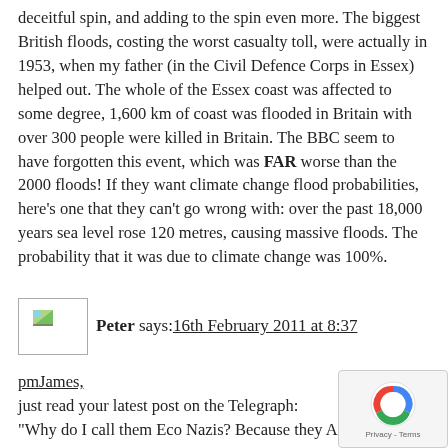deceitful spin, and adding to the spin even more. The biggest British floods, costing the worst casualty toll, were actually in 1953, when my father (in the Civil Defence Corps in Essex) helped out. The whole of the Essex coast was affected to some degree, 1,600 km of coast was flooded in Britain with over 300 people were killed in Britain. The BBC seem to have forgotten this event, which was FAR worse than the 2000 floods! If they want climate change flood probabilities, here’s one that they can’t go wrong with: over the past 18,000 years sea level rose 120 metres, causing massive floods. The probability that it was due to climate change was 100%.
[Figure (other): Small avatar/profile image placeholder icon]
Peter says:16th February 2011 at 8:37
pmJames,
just read your latest post on the Telegraph:
“Why do I call them Eco Nazis? Because they ARE